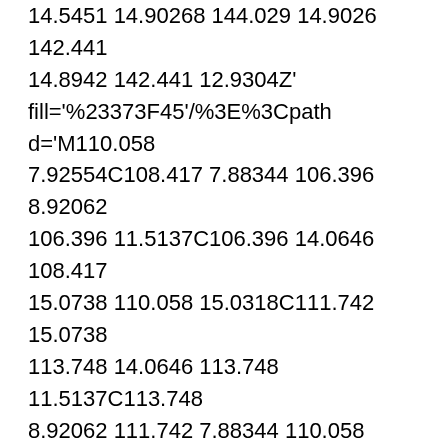14.5451 14.90268 144.029 14.9026 142.441 14.8942 142.441 12.9304Z' fill='%23373F45'/%3E%3Cpath d='M110.058 7.92554C108.417 7.88344 106.396 8.92062 106.396 11.5137C106.396 14.0646 108.417 15.0738 110.058 15.0318C111.742 15.0738 113.748 14.0646 113.748 11.5137C113.748 8.92062 111.742 7.88344 110.058 7.92554ZM110.07 13.7586C108.878 13.7586 108.032 12.8905 108.032 11.461C108.032 10.1013 108.878 9.20569 110.071 9.20569C111.263 9.20569 112.101 10.0995 112.101 11.459C112.101 12.8887 111.263 13.7586 110.07 13.7586Z'